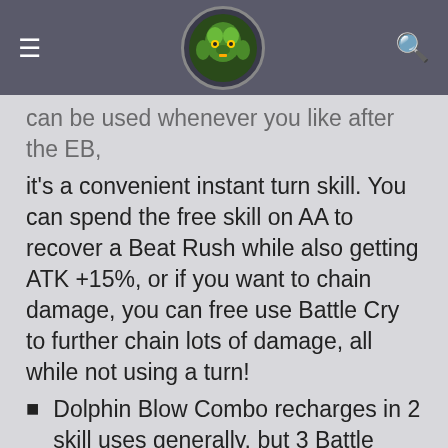can be used whenever you like after the EB, it's a convenient instant turn skill. You can spend the free skill on AA to recover a Beat Rush while also getting ATK +15%, or if you want to chain damage, you can free use Battle Cry to further chain lots of damage, all while not using a turn!
Dolphin Blow Combo recharges in 2 skill uses generally, but 3 Battle Cry's since they are instant turn rate. It does a lot of damage, delays and launches the target allowing allies to chase!
Removable Passives
NOTE: Passives should generally only be removed if you lack CP space. There are very rare occasions where a character has a bad passive that disrupts their optimal gameplay.